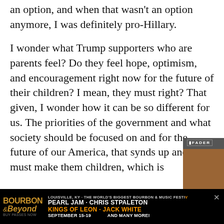an option, and when that wasn't an option anymore, I was definitely pro-Hillary.
I wonder what Trump supporters who are parents feel? Do they feel hope, optimism, and encouragement right now for the future of their children? I mean, they must right? That given, I wonder how it can be so different for us. The priorities of the go[vernment and what] society should be [focused on and hope] for the future of ou[r] America, that sync[s up...] and it must make t[hem feel...] children, which is [...]
[Figure (photo): Popup overlay showing two people (Britney Spears and Elton John) posing together, smiling. The popup has a FADER logo at top, close button (X), three-dots menu, and an arrow button. Caption reads: Britney Spears and Elton John join forces on "Hold Me Closer"]
[Figure (infographic): Bottom advertisement bar for Bourbon & Beyond festival. Black background. Bourbon & Beyond logo on left. Text: LOUISVILLE, KY · THE WORLD'S BIGGEST BOURBON & MUSIC FESTIVAL. PEARL JAM · CHRIS STPALETON. KINGS OF LEON · JACK WHITE. SEPTEMBER 15-19   AND MANY MORE!]